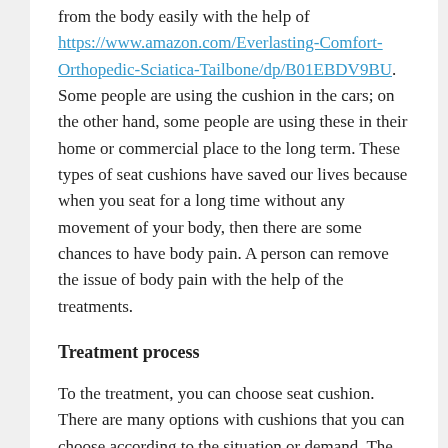from the body easily with the help of https://www.amazon.com/Everlasting-Comfort-Orthopedic-Sciatica-Tailbone/dp/B01EBDV9BU. Some people are using the cushion in the cars; on the other hand, some people are using these in their home or commercial place to the long term. These types of seat cushions have saved our lives because when you seat for a long time without any movement of your body, then there are some chances to have body pain. A person can remove the issue of body pain with the help of the treatments.
Treatment process
To the treatment, you can choose seat cushion. There are many options with cushions that you can choose according to the situation or demand. The individuals can select seat protectors according to the car size; on